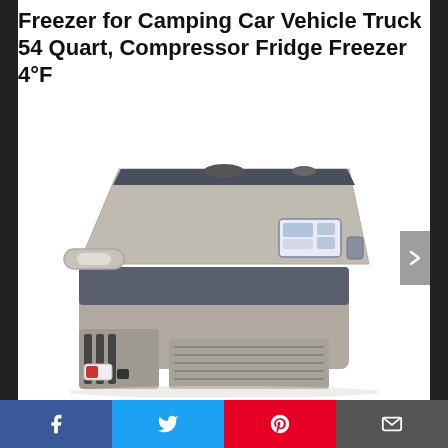Freezer for Camping Car Vehicle Truck 54 Quart, Compressor Fridge Freezer 4°F
[Figure (photo): Product photo of a portable compressor fridge/freezer unit in grey and dark grey colors, with a handle on the left side, digital control panel on the upper right, and ventilation grilles on the lower back.]
Facebook | Twitter | Pinterest | Email